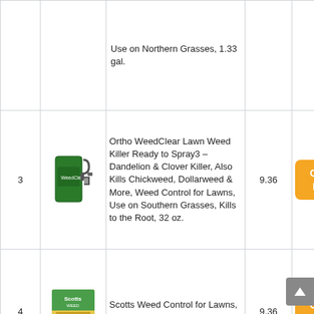| # | Image | Product | Score | Link |
| --- | --- | --- | --- | --- |
|  |  | Use on Northern Grasses, 1.33 gal. |  |  |
| 3 | [spray bottle image] | Ortho WeedClear Lawn Weed Killer Ready to Spray3 – Dandelion & Clover Killer, Also Kills Chickweed, Dollarweed & More, Weed Control for Lawns, Use on Southern Grasses, Kills to the Root, 32 oz. | 9.36 | Check Price |
| 4 | [scotts box image] | Scotts Weed Control for Lawns, 5000 sq. ft. | 9.36 | Check Price |
|  |  |  |  |  |